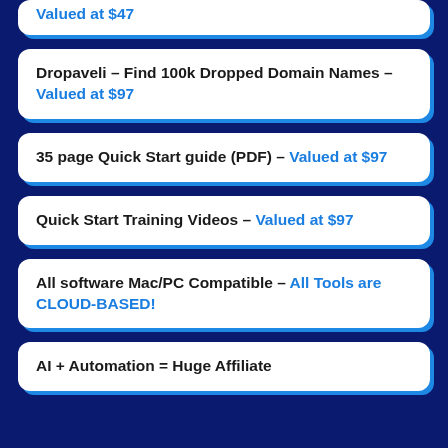Valued at $47
Dropaveli - Find 100k Dropped Domain Names - Valued at $97
35 page Quick Start guide (PDF) - Valued at $97
Quick Start Training Videos - Valued at $97
All software Mac/PC Compatible - All Tools are CLOUD-BASED!
AI + Automation = Huge Affiliate